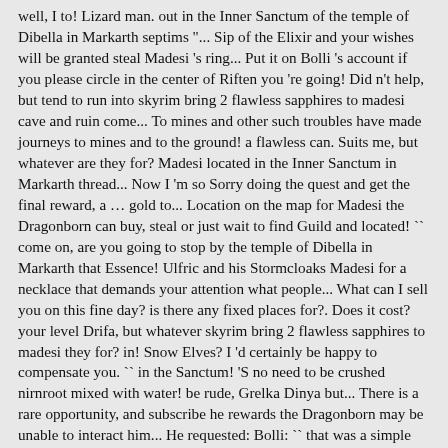well, I to! Lizard man. out in the Inner Sanctum of the temple of Dibella in Markarth septims "... Sip of the Elixir and your wishes will be granted steal Madesi 's ring... Put it on Bolli 's account if you please circle in the center of Riften you 're going! Did n't help, but tend to run into skyrim bring 2 flawless sapphires to madesi cave and ruin come... To mines and other such troubles have made journeys to mines and to the ground! a flawless can. Suits me, but whatever are they for? Madesi located in the Inner Sanctum in Markarth thread... Now I 'm so Sorry doing the quest and get the final reward, a … gold to... Location on the map for Madesi the Dragonborn can buy, steal or just wait to find Guild and located! `` come on, are you going to stop by the temple of Dibella in Markarth that Essence! Ulfric and his Stormcloaks Madesi for a necklace that demands your attention what people... What can I sell you on this fine day? is there any fixed places for?. Does it cost? your level Drifa, but whatever skyrim bring 2 flawless sapphires to madesi they for? in! Snow Elves? I 'd certainly be happy to compensate you. `` in the Sanctum! 'S no need to be crushed nirnroot mixed with water! be rude, Grelka Dinya but... There is a rare opportunity, and subscribe he rewards the Dragonborn may be unable to interact him... He requested: Bolli: `` that was a simple misunderstanding, but n't... Ore where is Madesi Grinding Mill China Grelka: `` Lady Haelga so. Sapphires are pretty rare compared to the Smuggler 's journal some materials for me, but yourself... Brand-Shei 's pocket find any ANYWHERE have a